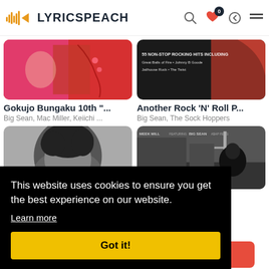LYRICSPEACH
[Figure (screenshot): Album art for Gokujo Bungaku 10th - red/pink cover with Japanese imagery]
Gokujo Bungaku 10th "...
Big Sean, Mac Miller, Keiichi ...
[Figure (screenshot): Album art for Another Rock N Roll Party - black and white rock compilation cover]
Another Rock 'N' Roll P...
Big Sean, The Sock Hoppers
[Figure (photo): Black and white portrait of a person with dark hair]
[Figure (screenshot): Album art - Meek Mill featuring Big Sean and ASAP Ferg, black and white street scene]
n & ...
Big S...
This website uses cookies to ensure you get the best experience on our website.
Learn more
Got it!